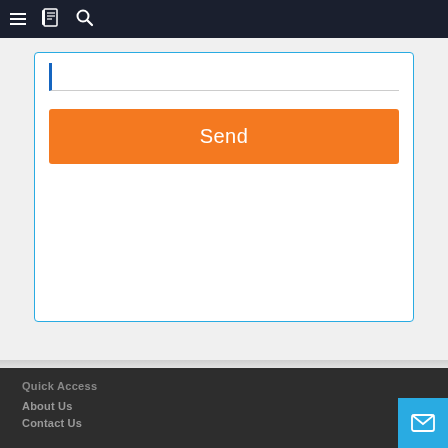Navigation bar with menu, book, and search icons
[Figure (screenshot): A white card with a blue border containing a text input field with blue left border and an orange 'Send' button]
Quick Access
About Us
Contact Us